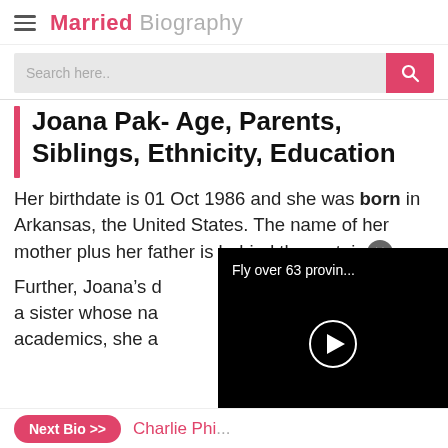Married Biography
Joana Pak- Age, Parents, Siblings, Ethnicity, Education
Her birthdate is 01 Oct 1986 and she was born in Arkansas, the United States. The name of her mother plus her father is behind the curtains.
Further, Joana's ... a sister whose na... academics, she a...
[Figure (screenshot): Video popup overlay showing 'Fly over 63 provin...' with a play button on black background]
Next Bio >> Charlie Phi...